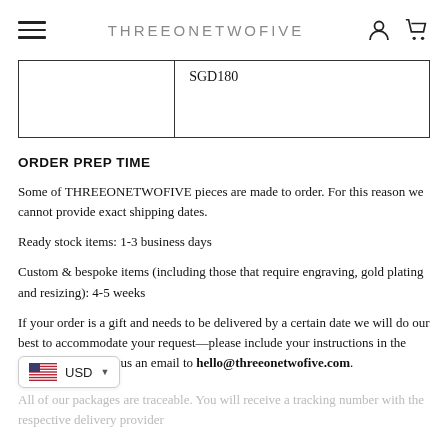THREEONETWOFIVE
|  | SGD180 |
ORDER PREP TIME
Some of THREEONETWOFIVE pieces are made to order. For this reason we cannot provide exact shipping dates.
Ready stock items: 1-3 business days
Custom & bespoke items (including those that require engraving, gold plating and resizing): 4-5 weeks
If your order is a gift and needs to be delivered by a certain date we will do our best to accommodate your request—please include your instructions in the order notes or drop us an email to hello@threeonetwofive.com.
All of our packages are traceable. You will receive a tracking number with the respective delivery provider